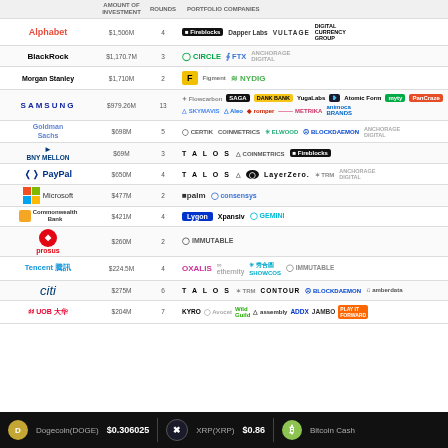| INVESTOR | AMOUNT OF INVESTMENT | ROUNDS | PORTFOLIO COMPANIES |
| --- | --- | --- | --- |
| Alphabet | $1,506M | 4 | Fireblocks, Dapper Labs, VULTAGE, Digital Currency Group |
| BlackRock | $1,170.7M | 3 | CIRCLE, FTX, Anchorage Digital |
| Morgan Stanley | $1,710M | 2 | Figment, NYDIG |
| SAMSUNG | $979.26M | 13 | Flowcarbon, SAGA, Dank Bank, Yugalabs, Atomic Form, MyTy, PanCraze, SKYMAVIS, Aleo, Romper, Metrika, Animoca Brands |
| Goldman Sachs | $698M | 5 | Certik, CoinMetrics, Elwood, Blockdaemon, Anchorage Digital |
| BNY MELLON | $69M | 3 | TALOS, CoinMetrics, Fireblocks |
| PayPal | $650M | 4 | TALOS, LayerZero, TRM, Anchorage Digital |
| Microsoft | $477M | 2 | Palm, Consensys |
| Commonwealth Bank | $421M | 4 | Lygon, Xpansiv, GEMINI |
| Prosus | $260M | 2 | IMMUTABLE |
| Tencent | $224.5M | 4 | OXALIS, Ethernity, Showcos, IMMUTABLE |
| citi | $275M | 6 | TALOS, TRM, CONTOUR, Blockdaemon, Amberdata |
| UOB | $204M | 7 | KYRO, Avocet, Wild Guild, Assembly, ADDX, JAMBO, Play it Forward |
Dogecoin(DOGE) $0.306025  XRP(XRP) $0.86  Bitcoin Cash